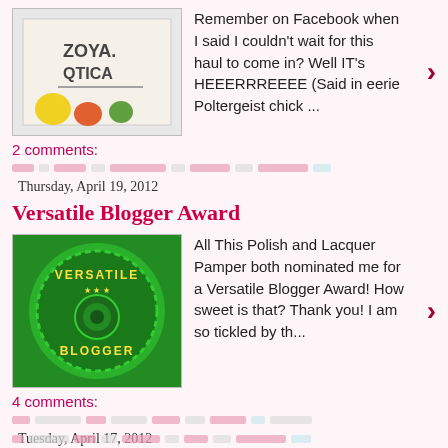[Figure (photo): Thumbnail image showing a box with ZOYA and QTICA text on it with some colorful items]
Remember on Facebook when I said I couldn't wait for this haul to come in? Well IT's HEEERRREEEE (Said in eerie Poltergeist chick ...
2 comments:
Thursday, April 19, 2012
Versatile Blogger Award
[Figure (illustration): Green circular badge/seal with VERSATILE BLOGGER text]
All This Polish and Lacquer Pamper both nominated me for a Versatile Blogger Award! How sweet is that? Thank you! I am so tickled by th...
4 comments:
Tuesday, April 17, 2012
Pretty In Paint: 500 Like Giveaway!
Pretty In Paint: 500 Like Giveaway! : I can't believe that my little blog already has over 500 likes on facebook. I never thought it wou...